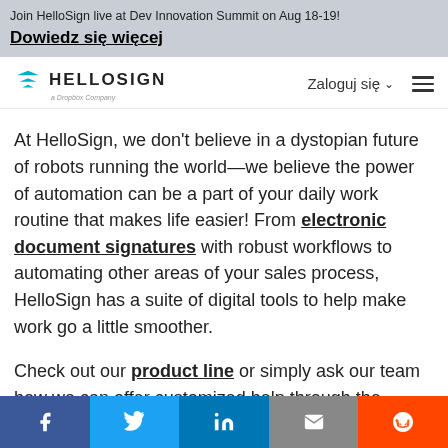Join HelloSign live at Dev Innovation Summit on Aug 18-19!
Dowiedz się więcej
[Figure (logo): HelloSign logo with teal downward-pointing triangle icon and text HELLOSIGN, a Dropbox Company]
Zaloguj się ∨
At HelloSign, we don't believe in a dystopian future of robots running the world—we believe the power of automation can be a part of your daily work routine that makes life easier! From electronic document signatures with robust workflows to automating other areas of your sales process, HelloSign has a suite of digital tools to help make work go a little smoother.
Check out our product line or simply ask our team how we can offer customized help through the